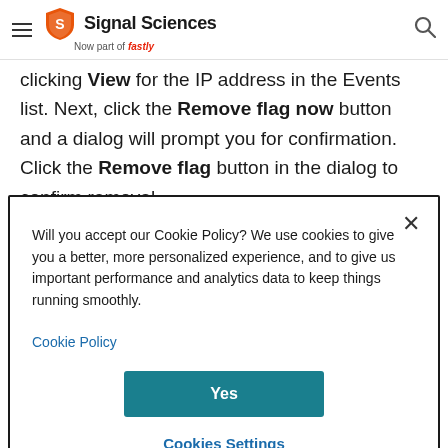Signal Sciences — Now part of fastly
clicking View for the IP address in the Events list. Next, click the Remove flag now button and a dialog will prompt you for confirmation. Click the Remove flag button in the dialog to confirm removal.
[Figure (screenshot): Cookie consent dialog with close button (×), cookie policy text, Cookie Policy link, Yes button, and Cookies Settings link]